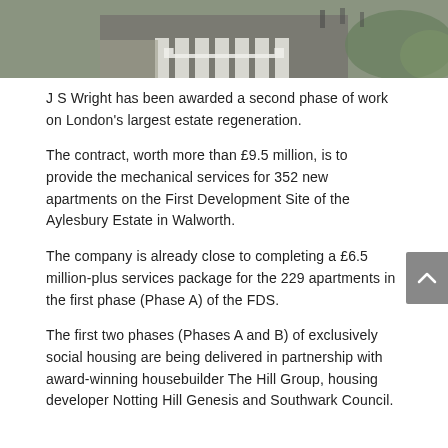[Figure (photo): Aerial or street-level photograph of a zebra crossing / pedestrian crosswalk area with road markings visible, showing an urban environment]
J S Wright has been awarded a second phase of work on London's largest estate regeneration.
The contract, worth more than £9.5 million, is to provide the mechanical services for 352 new apartments on the First Development Site of the Aylesbury Estate in Walworth.
The company is already close to completing a £6.5 million-plus services package for the 229 apartments in the first phase (Phase A) of the FDS.
The first two phases (Phases A and B) of exclusively social housing are being delivered in partnership with award-winning housebuilder The Hill Group, housing developer Notting Hill Genesis and Southwark Council.